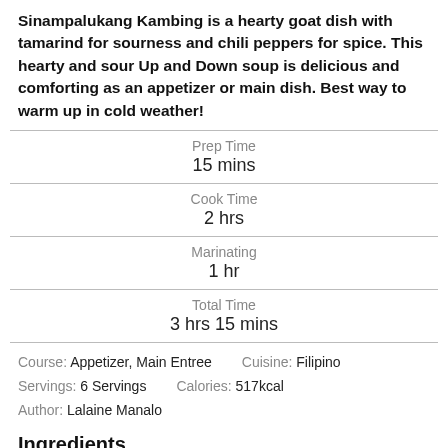Sinampalukang Kambing is a hearty goat dish with tamarind for sourness and chili peppers for spice. This hearty and sour Up and Down soup is delicious and comforting as an appetizer or main dish. Best way to warm up in cold weather!
| Prep Time | 15 mins |
| Cook Time | 2 hrs |
| Marinating | 1 hr |
| Total Time | 3 hrs 15 mins |
Course: Appetizer, Main Entree    Cuisine: Filipino
Servings: 6 Servings    Calories: 517kcal
Author: Lalaine Manalo
Ingredients
2 pounds goat head and feet (or other parts), cut into serving